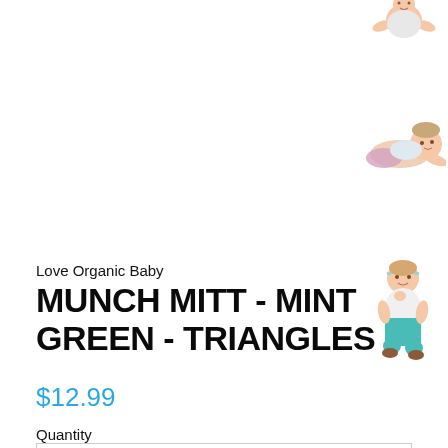[Figure (photo): Small thumbnail photo of a baby, partially cropped at top-right corner of page]
[Figure (photo): Small thumbnail photo of a baby lying on stomach, on right side of page]
[Figure (photo): Small thumbnail photo of a baby sitting upright wearing teal pants, on right side of page]
Love Organic Baby
MUNCH MITT - MINT GREEN - TRIANGLES
$12.99
Quantity